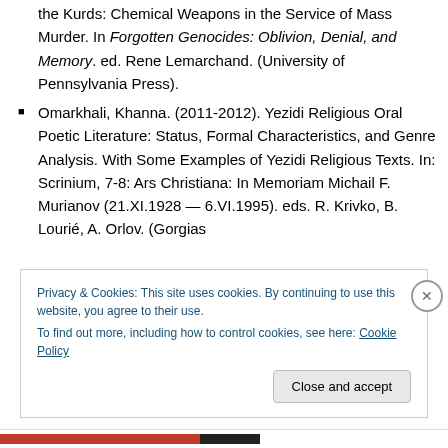the Kurds: Chemical Weapons in the Service of Mass Murder. In Forgotten Genocides: Oblivion, Denial, and Memory. ed. Rene Lemarchand. (University of Pennsylvania Press).
Omarkhali, Khanna. (2011-2012). Yezidi Religious Oral Poetic Literature: Status, Formal Characteristics, and Genre Analysis. With Some Examples of Yezidi Religious Texts. In: Scrinium, 7-8: Ars Christiana: In Memoriam Michail F. Murianov (21.XI.1928 — 6.VI.1995). eds. R. Krivko, B. Lourié, A. Orlov. (Gorgias
Privacy & Cookies: This site uses cookies. By continuing to use this website, you agree to their use.
To find out more, including how to control cookies, see here: Cookie Policy
Close and accept